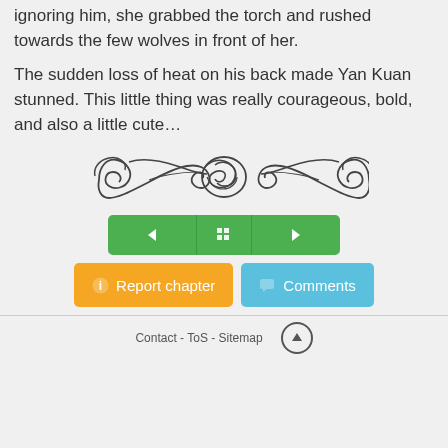ignoring him, she grabbed the torch and rushed towards the few wolves in front of her.
The sudden loss of heat on his back made Yan Kuan stunned. This little thing was really courageous, bold, and also a little cute…
[Figure (illustration): Decorative ornamental divider with scrollwork and knotwork design]
[Figure (infographic): Navigation buttons: left arrow, table of contents grid icon, right arrow — all green]
[Figure (infographic): Action buttons: orange 'Report chapter' and blue 'Comments']
Contact - ToS - Sitemap